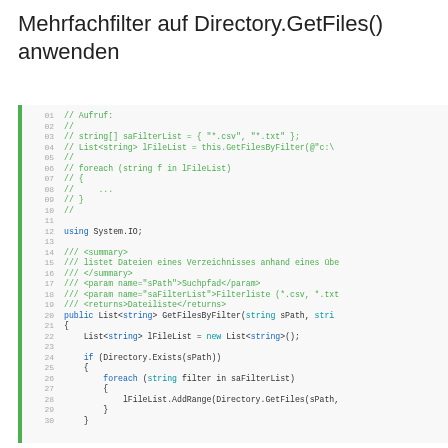Mehrfachfilter auf Directory.GetFiles() anwenden
[Figure (screenshot): Code block showing C# code for GetFilesByFilter method with line numbers 01-30, green left border, comments in green, keywords in blue/teal, and code in dark gray/black monospace font.]